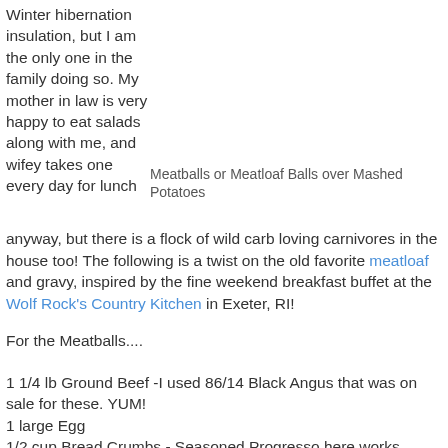Winter hibernation insulation, but I am the only one in the family doing so. My mother in law is very happy to eat salads along with me, and wifey takes one every day for lunch
Meatballs or Meatloaf Balls over Mashed Potatoes
anyway, but there is a flock of wild carb loving carnivores in the house too! The following is a twist on the old favorite meatloaf and gravy, inspired by the fine weekend breakfast buffet at the Wolf Rock's Country Kitchen in Exeter, RI!
For the Meatballs....
1 1/4 lb Ground Beef -I used 86/14 Black Angus that was on sale for these. YUM!
1 large Egg
1/2 cup Bread Crumbs - Seasoned Progresso here works great.